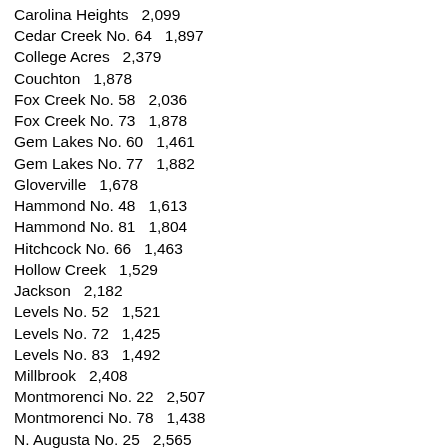Carolina Heights   2,099
Cedar Creek No. 64   1,897
College Acres   2,379
Couchton   1,878
Fox Creek No. 58   2,036
Fox Creek No. 73   1,878
Gem Lakes No. 60   1,461
Gem Lakes No. 77   1,882
Gloverville   1,678
Hammond No. 48   1,613
Hammond No. 81   1,804
Hitchcock No. 66   1,463
Hollow Creek   1,529
Jackson   2,182
Levels No. 52   1,521
Levels No. 72   1,425
Levels No. 83   1,492
Millbrook   2,408
Montmorenci No. 22   2,507
Montmorenci No. 78   1,438
N. Augusta No. 25   2,565
N. Augusta No. 26   1,559
N. Augusta No. 27   1,927
N. Augusta No. 28   1,392
N. Augusta No. 29   2,320
N. Augusta No. 54   2,975